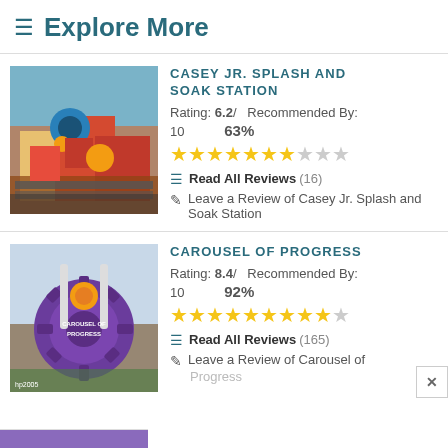≡ Explore More
[Figure (photo): Photo of Casey Jr. Splash and Soak Station ride - colorful toy train with red and blue cars behind a metal fence]
CASEY JR. SPLASH AND SOAK STATION
Rating: 6.2/ Recommended By:
10  63%
★★★★★★★☆☆☆
☰ Read All Reviews (16)
✎ Leave a Review of Casey Jr. Splash and Soak Station
[Figure (photo): Photo of Carousel of Progress sign - a large purple gear-shaped sign with the attraction name]
CAROUSEL OF PROGRESS
Rating: 8.4/ Recommended By:
10  92%
★★★★★★★★★☆
☰ Read All Reviews (165)
✎ Leave a Review of Carousel of Progress